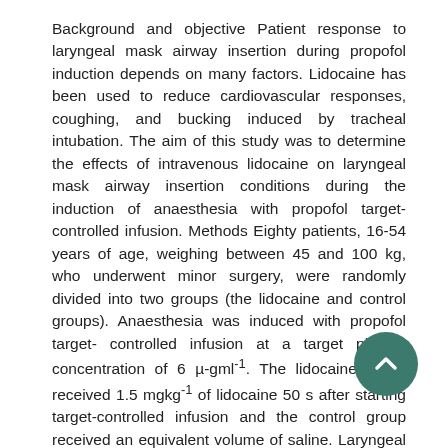Background and objective Patient response to laryngeal mask airway insertion during propofol induction depends on many factors. Lidocaine has been used to reduce cardiovascular responses, coughing, and bucking induced by tracheal intubation. The aim of this study was to determine the effects of intravenous lidocaine on laryngeal mask airway insertion conditions during the induction of anaesthesia with propofol target-controlled infusion. Methods Eighty patients, 16-54 years of age, weighing between 45 and 100 kg, who underwent minor surgery, were randomly divided into two groups (the lidocaine and control groups). Anaesthesia was induced with propofol target- controlled infusion at a target plasma concentration of 6 µ-gml⁻¹. The lidocaine group received 1.5 mgkg⁻¹ of lidocaine 50 s after starting target-controlled infusion and the control group received an equivalent volume of saline. Laryngeal mask airways were inserted when propofol effect-site concentrations reached 2.5 µ-gml⁻¹. Laryngeal mask airway insertion conditions (mouth opening, gagging, coughing, movements, laryngospasm, overall ease of insertion, and hiccups) were assessed, and haemodynamic responses were monitored for 3 min after laryngeal mask airway insertion. Results No significant differences were observed between the two groups in terms of
[Figure (other): A circular dark teal/green scroll-to-top button with an upward-pointing chevron arrow, positioned in the lower right area of the page.]